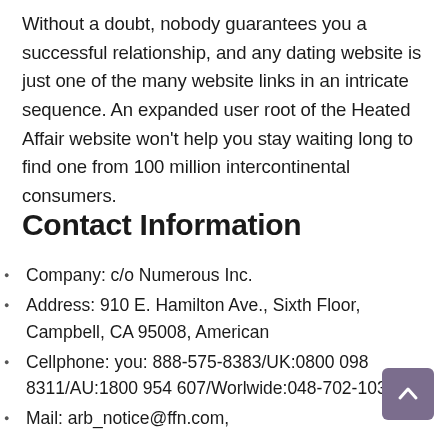Without a doubt, nobody guarantees you a successful relationship, and any dating website is just one of the many website links in an intricate sequence. An expanded user root of the Heated Affair website won't help you stay waiting long to find one from 100 million intercontinental consumers.
Contact Information
Company: c/o Numerous Inc.
Address: 910 E. Hamilton Ave., Sixth Floor, Campbell, CA 95008, American
Cellphone: you: 888-575-8383/UK:0800 098 8311/AU:1800 954 607/Worlwide:048-702-1033
Mail: arb_notice@ffn.com,